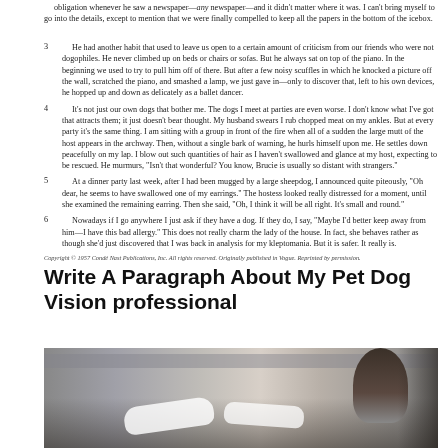3. He had another habit that used to leave us open to a certain amount of criticism from our friends who were not dogophiles. He never climbed up on beds or chairs or sofas. But he always sat on top of the piano. In the beginning we used to try to pull him off of there. But after a few noisy scuffles in which he knocked a picture off the wall, scratched the piano, and smashed a lamp, we just gave in—only to discover that, left to his own devices, he hopped up and down as delicately as a ballet dancer.
4. It's not just our own dogs that bother me. The dogs I meet at parties are even worse. I don't know what I've got that attracts them; it just doesn't bear thought. My husband swears I rub chopped meat on my ankles. But at every party it's the same thing. I am sitting with a group in front of the fire when all of a sudden the large mutt of the host appears in the archway. Then, without a single bark of warning, he hurls himself upon me. He settles down peacefully on my lap. I blow out such quantities of hair as I haven't swallowed and glance at my host, expecting to be rescued. He murmurs, "Isn't that wonderful? You know, Brucie is usually so distant with strangers."
5. At a dinner party last week, after I had been mugged by a large sheepdog, I announced quite piteously, "Oh dear, he seems to have swallowed one of my earrings." The hostess looked really distressed for a moment, until she examined the remaining earring. Then she said, "Oh, I think it will be all right. It's small and round."
6. Nowadays if I go anywhere I just ask if they have a dog. If they do, I say, "Maybe I'd better keep away from him—I have this bad allergy." This does not really charm the lady of the house. In fact, she behaves rather as though she'd just discovered that I was back in analysis for my kleptomania. But it is safer. It really is.
Copyright © 1957 Condé Nast Publications, Inc. All rights reserved. Originally published in Vogue. Reprinted by permission.
Write A Paragraph About My Pet Dog Vision professional
[Figure (photo): A close-up photograph of a person holding or near a dog, partially visible, with a blurred background showing horizontal stripes. The image is cropped to show the lower portion of the scene with white curved objects (possibly dog paws or clothing) visible.]